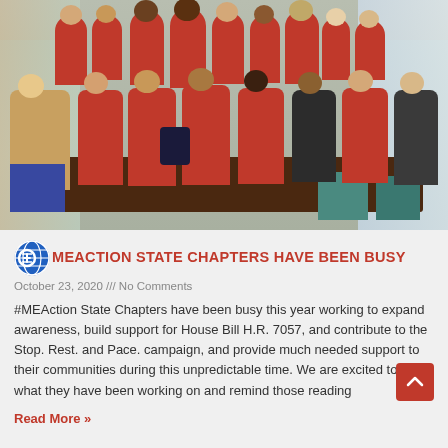[Figure (photo): Group photo of approximately 15-20 people wearing red t-shirts seated and standing around a table in what appears to be a community room or restaurant.]
MEACTION STATE CHAPTERS HAVE BEEN BUSY
October 23, 2020 /// No Comments
#MEAction State Chapters have been busy this year working to expand awareness, build support for House Bill H.R. 7057, and contribute to the Stop. Rest. and Pace. campaign, and provide much needed support to their communities during this unpredictable time. We are excited to share what they have been working on and remind those reading
Read More »